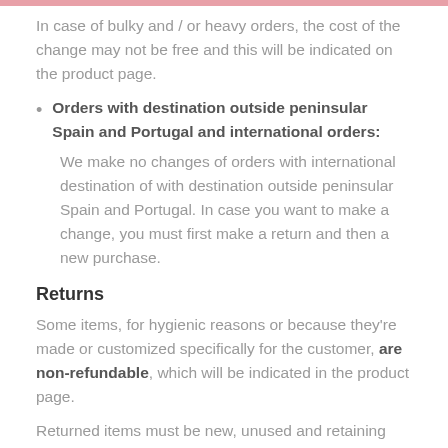In case of bulky and / or heavy orders, the cost of the change may not be free and this will be indicated on the product page.
Orders with destination outside peninsular Spain and Portugal and international orders: We make no changes of orders with international destination of with destination outside peninsular Spain and Portugal. In case you want to make a change, you must first make a return and then a new purchase.
Returns
Some items, for hygienic reasons or because they're made or customized specifically for the customer, are non-refundable, which will be indicated in the product page.
Returned items must be new, unused and retaining their